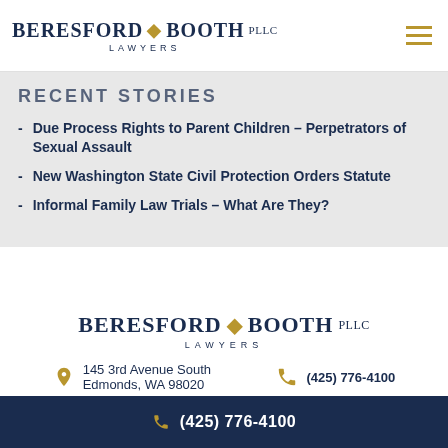BERESFORD BOOTH PLLC LAWYERS
RECENT STORIES
Due Process Rights to Parent Children – Perpetrators of Sexual Assault
New Washington State Civil Protection Orders Statute
Informal Family Law Trials – What Are They?
[Figure (logo): Beresford Booth PLLC Lawyers logo in center of footer area]
145 3rd Avenue South Edmonds, WA 98020
(425) 776-4100
(425) 776-4100